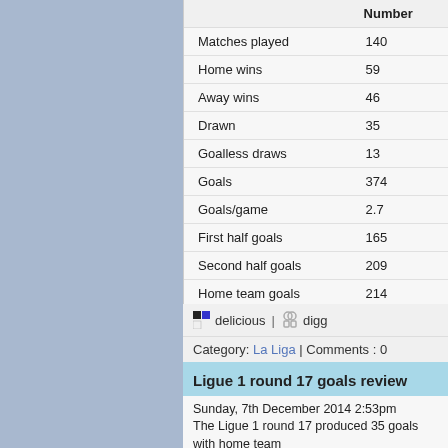|  | Number |
| --- | --- |
| Matches played | 140 |
| Home wins | 59 |
| Away wins | 46 |
| Drawn | 35 |
| Goalless draws | 13 |
| Goals | 374 |
| Goals/game | 2.7 |
| First half goals | 165 |
| Second half goals | 209 |
| Home team goals | 214 |
| Away team goals | 160 |
delicious | digg
Category: La Liga | Comments : 0
Ligue 1 round 17 goals review
Sunday, 7th December 2014 2:53pm
The Ligue 1 round 17 produced 35 goals with home team... the away teams scoring 20.